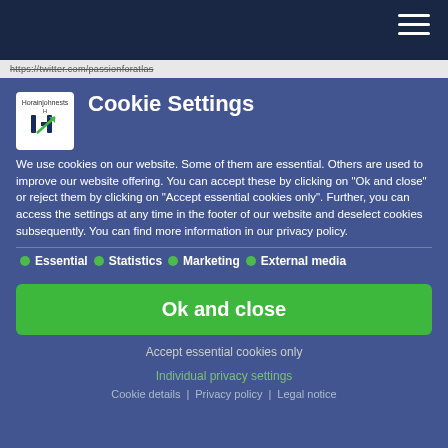https://twitter.com/passionforatlas
Cookie Settings
We use cookies on our website. Some of them are essential. Others are used to improve our website offering. You can accept these by clicking on "Ok and close" or reject them by clicking on "Accept essential cookies only". Further, you can access the settings at any time in the footer of our website and deselect cookies subsequently. You can find more information in our privacy policy.
Essential
Statistics
Marketing
External media
Ok and close
Accept essential cookies only
Individual privacy settings
Cookie details | Privacy policy | Legal notice